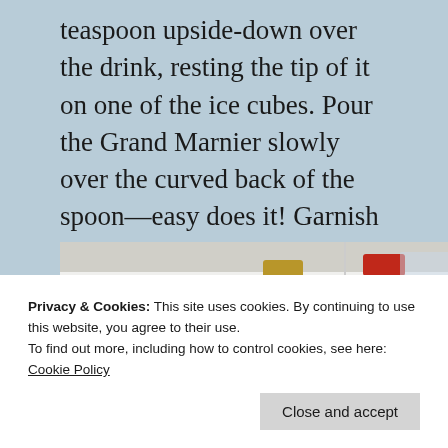teaspoon upside-down over the drink, resting the tip of it on one of the ice cubes. Pour the Grand Marnier slowly over the curved back of the spoon—easy does it! Garnish the drink with a lime wheel and enjoy!
[Figure (photo): Partial photo of cocktail-making scene showing bottles with gold and red caps on a white surface, with a lime garnish visible at the bottom.]
Privacy & Cookies: This site uses cookies. By continuing to use this website, you agree to their use.
To find out more, including how to control cookies, see here: Cookie Policy